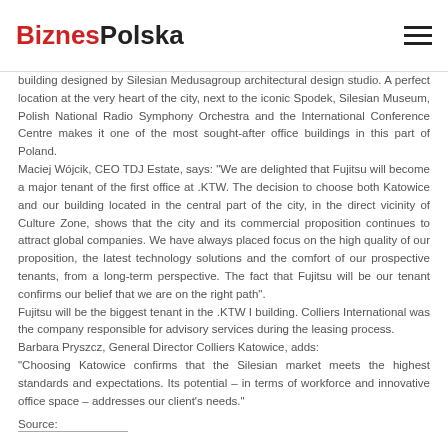BiznesPolska
building designed by Silesian Medusagroup architectural design studio. A perfect location at the very heart of the city, next to the iconic Spodek, Silesian Museum, Polish National Radio Symphony Orchestra and the International Conference Centre makes it one of the most sought-after office buildings in this part of Poland.
Maciej Wójcik, CEO TDJ Estate, says: "We are delighted that Fujitsu will become a major tenant of the first office at .KTW. The decision to choose both Katowice and our building located in the central part of the city, in the direct vicinity of Culture Zone, shows that the city and its commercial proposition continues to attract global companies. We have always placed focus on the high quality of our proposition, the latest technology solutions and the comfort of our prospective tenants, from a long-term perspective. The fact that Fujitsu will be our tenant confirms our belief that we are on the right path".
Fujitsu will be the biggest tenant in the .KTW I building. Colliers International was the company responsible for advisory services during the leasing process.
Barbara Pryszcz, General Director Colliers Katowice, adds: "Choosing Katowice confirms that the Silesian market meets the highest standards and expectations. Its potential – in terms of workforce and innovative office space – addresses our client's needs."
Source:
Share this: